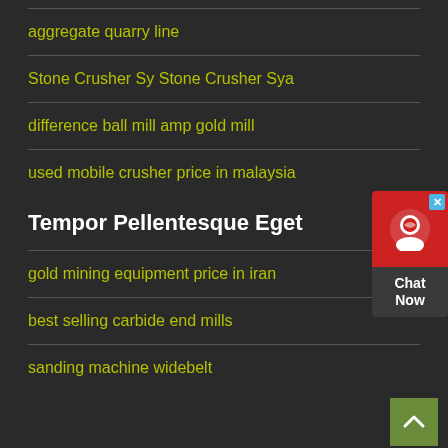aggregate quarry line
Stone Crusher Sy Stone Crusher Sya
difference ball mill amp gold mill
used mobile crusher price in malaysia
Tempor Pellentesque Eget
gold mining equipment price in iran
best selling carbide end mills
sanding machine widebelt